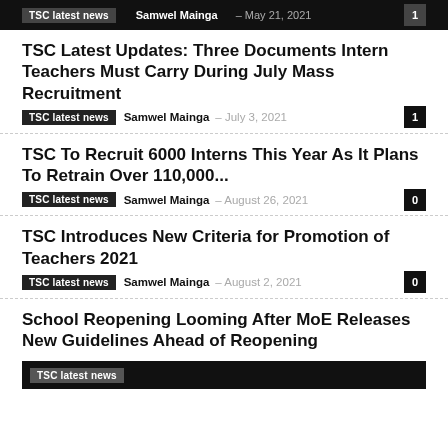TSC latest news  Samwel Mainga  May 21, 2021  1
TSC Latest Updates: Three Documents Intern Teachers Must Carry During July Mass Recruitment
TSC latest news  Samwel Mainga  July 3, 2021  1
TSC To Recruit 6000 Interns This Year As It Plans To Retrain Over 110,000...
TSC latest news  Samwel Mainga  August 26, 2021  0
TSC Introduces New Criteria for Promotion of Teachers 2021
TSC latest news  Samwel Mainga  August 2, 2021  0
School Reopening Looming After MoE Releases New Guidelines Ahead of Reopening
TSC latest news